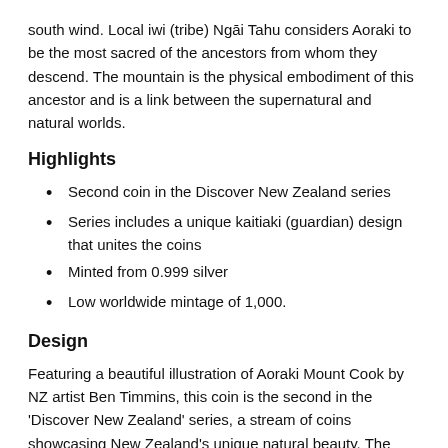south wind. Local iwi (tribe) Ngāi Tahu considers Aoraki to be the most sacred of the ancestors from whom they descend. The mountain is the physical embodiment of this ancestor and is a link between the supernatural and natural worlds.
Highlights
Second coin in the Discover New Zealand series
Series includes a unique kaitiaki (guardian) design that unites the coins
Minted from 0.999 silver
Low worldwide mintage of 1,000.
Design
Featuring a beautiful illustration of Aoraki Mount Cook by NZ artist Ben Timmins, this coin is the second in the 'Discover New Zealand' series, a stream of coins showcasing New Zealand's unique natural beauty. The coins in the series are united by a specially designed kaitiaki - guardian - that sits at the base of each coin. The kaitiaki not only acts as a unifying feature that